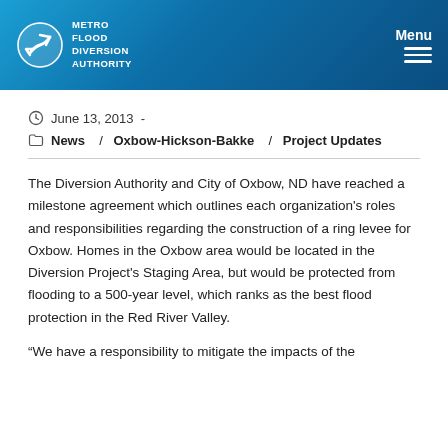Metro Flood Diversion Authority | Menu
June 13, 2013 -
News / Oxbow-Hickson-Bakke / Project Updates
The Diversion Authority and City of Oxbow, ND have reached a milestone agreement which outlines each organization's roles and responsibilities regarding the construction of a ring levee for Oxbow. Homes in the Oxbow area would be located in the Diversion Project's Staging Area, but would be protected from flooding to a 500-year level, which ranks as the best flood protection in the Red River Valley.
“We have a responsibility to mitigate the impacts of the